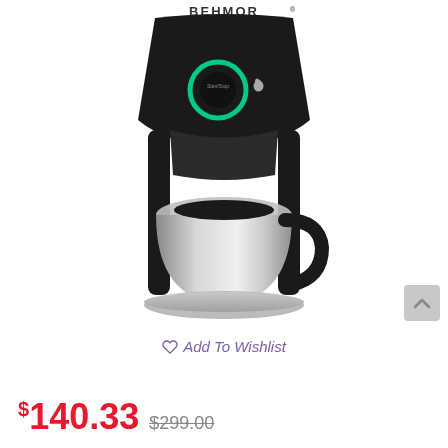[Figure (photo): Behmor brand coffee maker with black body, stainless steel thermal carafe, green-lit circular start/stop button on top, displayed on white background]
♡ Add To Wishlist
$140.33 $299.00